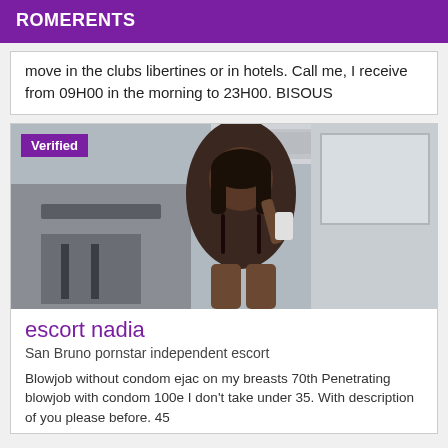ROMERENTS
move in the clubs libertines or in hotels. Call me, I receive from 09H00 in the morning to 23H00. BISOUS
[Figure (photo): Photo of a woman in black lingerie taking a mirror selfie, with a Verified badge overlay in the top-left corner]
escort nadia
San Bruno pornstar independent escort
Blowjob without condom ejac on my breasts 70th Penetrating blowjob with condom 100e I don't take under 35. With description of you please before. 45